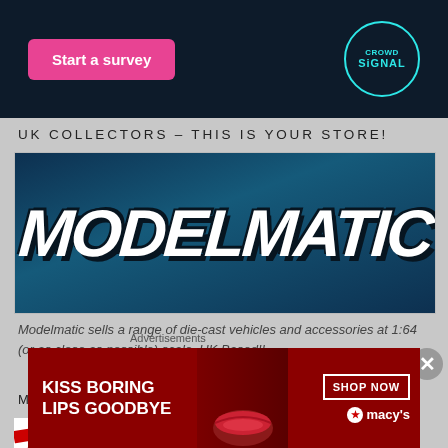[Figure (screenshot): Dark navy banner with pink 'Start a survey' button on left and Crowdsignal circular logo on right]
UK COLLECTORS – THIS IS YOUR STORE!
[Figure (logo): Modelmatic logo - bold white italic text on dark teal/navy background]
Modelmatic sells a range of die-cast vehicles and accessories at 1:64 (or as close as possible) scale. UK Based!!
MOYSHOP: EUROPE'S MATCHBOX SPECIALIST
[Figure (photo): Partial view of red and white striped car on white background]
Advertisements
[Figure (screenshot): Macy's advertisement banner - dark red background with 'KISS BORING LIPS GOODBYE' text, woman's face, SHOP NOW button and Macy's star logo]